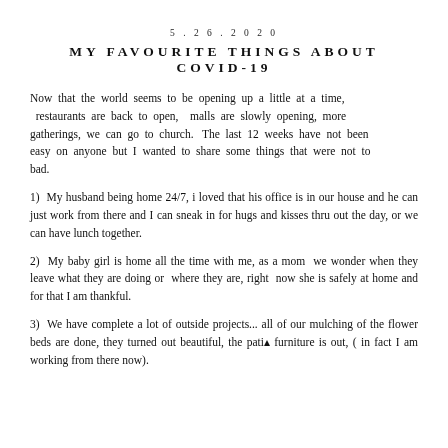5.26.2020
MY FAVOURITE THINGS ABOUT COVID-19
Now that the world seems to be opening up a little at a time, restaurants are back to open, malls are slowly opening, more gatherings, we can go to church. The last 12 weeks have not been easy on anyone but I wanted to share some things that were not to bad.
1) My husband being home 24/7, i loved that his office is in our house and he can just work from there and I can sneak in for hugs and kisses thru out the day, or we can have lunch together.
2) My baby girl is home all the time with me, as a mom we wonder when they leave what they are doing or where they are, right now she is safely at home and for that I am thankful.
3) We have complete a lot of outside projects... all of our mulching of the flower beds are done, they turned out beautiful, the patio furniture is out, ( in fact I am working from there now).